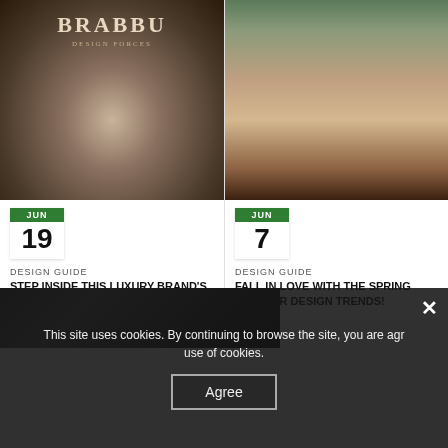[Figure (photo): Luxury interior dining room with BRABBU DESIGN FORCES logo at top, dark tones with chandelier and round table, showing 'START TOUR' button overlay. Date badge: JUN 19.]
DESIGN GUIDE
STEP INSIDE THIS LUXURY BRAND'S VIRTUAL TOUR!
[Figure (photo): Luxury living room interior with pink sofa, patterned rug, plants and artwork. Date badge: JUN 7.]
DESIGN GUIDE
FALL IN LOVE WITH THE SPRING INTERIOR DESIGN TRENDS!
[Figure (screenshot): Cookie consent overlay on dark background with partial view of another article below. Shows close (×) button, cookie notice text, and Agree button.]
This site uses cookies. By continuing to browse the site, you are agreeing to our use of cookies.